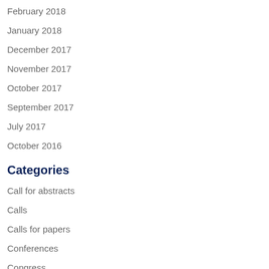February 2018
January 2018
December 2017
November 2017
October 2017
September 2017
July 2017
October 2016
Categories
Call for abstracts
Calls
Calls for papers
Conferences
Congress